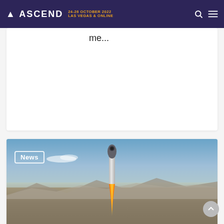ASCEND 24-26 OCTOBER 2022 LAS VEGAS & ONLINE
me...
[Figure (photo): A rocket (Blue Origin New Shepard) launching vertically with an orange flame trail, against a desert landscape with mountains in the background under a blue sky. A 'News' badge label is overlaid in the top-left of the image.]
June 4, 2022
AIAA Statement on